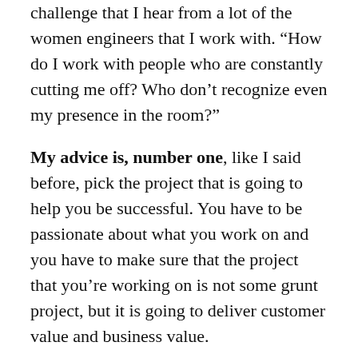challenge that I hear from a lot of the women engineers that I work with. “How do I work with people who are constantly cutting me off? Who don’t recognize even my presence in the room?”
My advice is, number one, like I said before, pick the project that is going to help you be successful. You have to be passionate about what you work on and you have to make sure that the project that you’re working on is not some grunt project, but it is going to deliver customer value and business value.
And when an opportunity comes, like it did for me with my switch from IC to a lead, take it and give yourself a chance. Remember, I actually